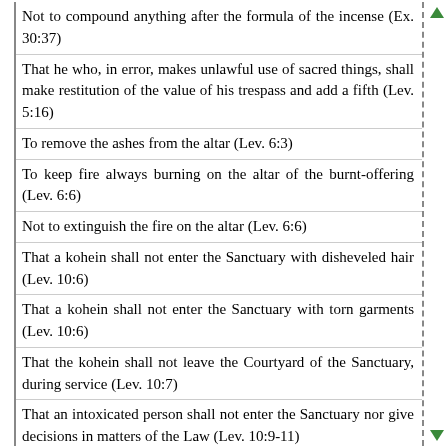Not to compound anything after the formula of the incense (Ex. 30:37)
That he who, in error, makes unlawful use of sacred things, shall make restitution of the value of his trespass and add a fifth (Lev. 5:16)
To remove the ashes from the altar (Lev. 6:3)
To keep fire always burning on the altar of the burnt-offering (Lev. 6:6)
Not to extinguish the fire on the altar (Lev. 6:6)
That a kohein shall not enter the Sanctuary with disheveled hair (Lev. 10:6)
That a kohein shall not enter the Sanctuary with torn garments (Lev. 10:6)
That the kohein shall not leave the Courtyard of the Sanctuary, during service (Lev. 10:7)
That an intoxicated person shall not enter the Sanctuary nor give decisions in matters of the Law (Lev. 10:9-11)
To revere the Sanctuary (Lev. 19:30)
That when the Ark is carried, it should be carried on the shoulder (Num. 7:9)
To observe the second Passover (Num. 9:11)